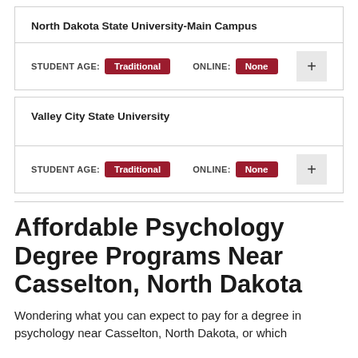| University | Student Age | Online |
| --- | --- | --- |
| North Dakota State University-Main Campus | Traditional | None |
| University | Student Age | Online |
| --- | --- | --- |
| Valley City State University | Traditional | None |
Affordable Psychology Degree Programs Near Casselton, North Dakota
Wondering what you can expect to pay for a degree in psychology near Casselton, North Dakota, or which